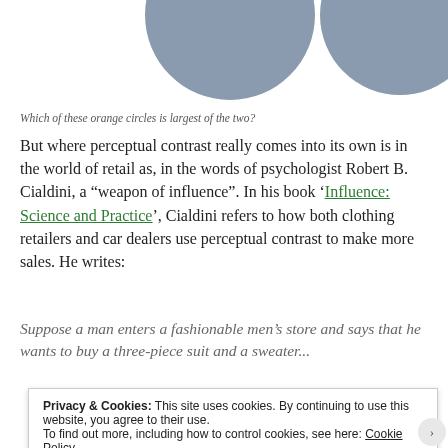[Figure (illustration): Two overlapping blue-grey circles of similar size at the top of the page, partially cropped]
Which of these orange circles is largest of the two?
But where perceptual contrast really comes into its own is in the world of retail as, in the words of psychologist Robert B. Cialdini, a “weapon of influence”. In his book ‘Influence: Science and Practice’, Cialdini refers to how both clothing retailers and car dealers use perceptual contrast to make more sales. He writes:
Suppose a man enters a fashionable men’s store and says that he wants to buy a three-piece suit and a sweater...
Privacy & Cookies: This site uses cookies. By continuing to use this website, you agree to their use.
To find out more, including how to control cookies, see here: Cookie Policy
Close and accept